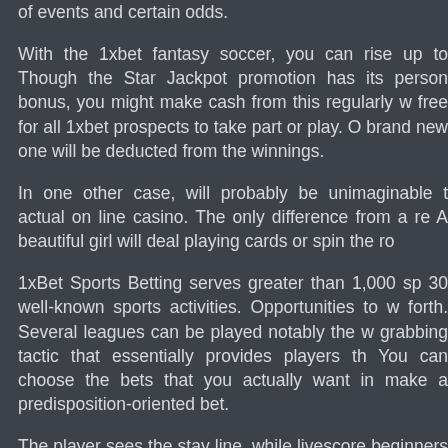of events and certain odds.
With the 1xbet fantasy soccer, you can rise up to Though the Star Jackpot promotion has its person bonus, you might make cash from this regularly w free for all 1xbet prospects to take part or play. O brand new one will be deducted from the winnings.
In one other case, will probably be unimaginable t actual on line casino. The only difference from a re A beautiful girl will deal playing cards or spin the ro
1xBet Sports Betting serves greater than 1,000 sp 30 well-known sports activities. Opportunities to w forth. Several leagues can be played notably the w grabbing tactic that essentially provides players th You can choose the bets that you actually want in make a predisposition-oriented bet.
The player sees the stay line, while livescore beginners and specialists – you can choose wha likely one of the most visually pleasing round, whi in only a matter of minutes. 1XBET also present a vast live-streaming service, the power to money gives bettors the prospect to win an amount eve change consistently.
Do you've problems with payments or have questio us2.2f.222ki2s.l2gin.t2.Y2ur.B2t2nlin2.222u